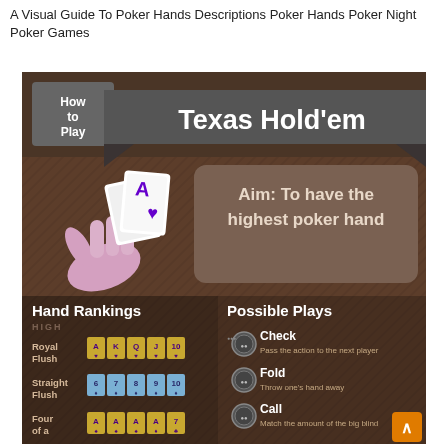A Visual Guide To Poker Hands Descriptions Poker Hands Poker Night Poker Games
[Figure (infographic): Infographic titled 'How to Play Texas Hold'em'. Features a banner with 'How to play' tag and 'Texas Hold'em' title. Shows a hand holding two Ace of Hearts cards. Aim box reads 'Aim: To have the highest poker hand'. Bottom section shows Hand Rankings (Royal Flush, Straight Flush, Four of a) with card illustrations, and Possible Plays (Check - Pass the action to the next player, Fold - Throw one's hand away, Call - Match the amount of the big blind) with poker chip icons.]